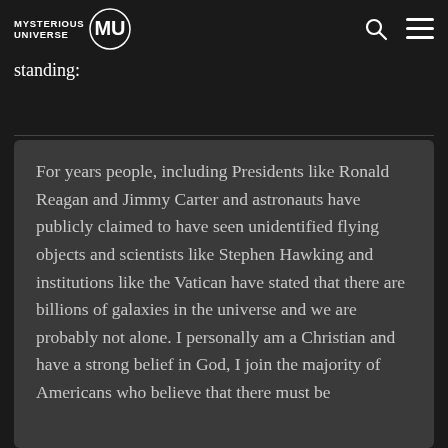MYSTERIOUS UNIVERSE [logo]
mysterious pyramid. She has said of these strange encounters and their relation to her political standing:
For years people, including Presidents like Ronald Reagan and Jimmy Carter and astronauts have publicly claimed to have seen unidentified flying objects and scientists like Stephen Hawking and institutions like the Vatican have stated that there are billions of galaxies in the universe and we are probably not alone. I personally am a Christian and have a strong belief in God, I join the majority of Americans who believe that there must be